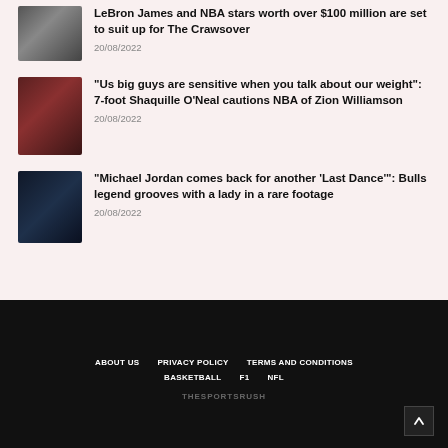[Figure (photo): Blurred dark thumbnail image for article 1]
LeBron James and NBA stars worth over $100 million are set to suit up for The Crawsover
20/08/2022
[Figure (photo): Blurred dark red thumbnail image for article 2]
“Us big guys are sensitive when you talk about our weight”: 7-foot Shaquille O’Neal cautions NBA of Zion Williamson
20/08/2022
[Figure (photo): Blurred dark blue thumbnail image for article 3]
“Michael Jordan comes back for another ‘Last Dance’”: Bulls legend grooves with a lady in a rare footage
20/08/2022
ABOUT US   PRIVACY POLICY   TERMS AND CONDITIONS   BASKETBALL   F1   NFL   THESPORTSRUSH